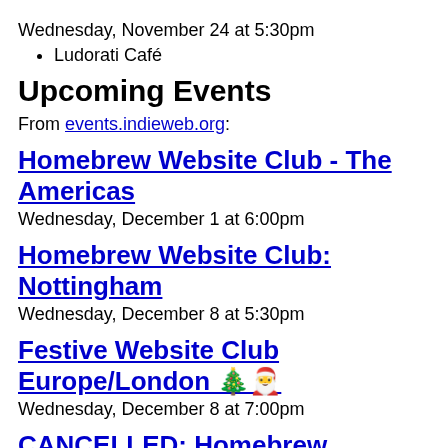Wednesday, November 24 at 5:30pm
Ludorati Café
Upcoming Events
From events.indieweb.org:
Homebrew Website Club - The Americas
Wednesday, December 1 at 6:00pm
Homebrew Website Club: Nottingham
Wednesday, December 8 at 5:30pm
Festive Website Club Europe/London 🎄🎅
Wednesday, December 8 at 7:00pm
CANCELLED: Homebrew Website Club: Nottingham